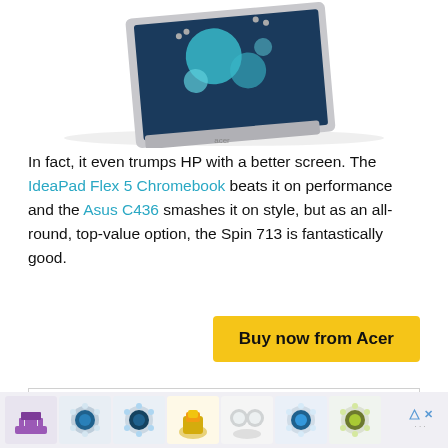[Figure (photo): Partial view of an Acer laptop/Chromebook from above, showing the hinge area and screen with blue/teal bubbles on screen]
In fact, it even trumps HP with a better screen. The IdeaPad Flex 5 Chromebook beats it on performance and the Asus C436 smashes it on style, but as an all-round, top-value option, the Spin 713 is fantastically good.
Buy now from Acer
[Figure (screenshot): Advertisement: People Search with First Name input field]
[Figure (illustration): Bottom ad strip showing jewelry rings including purple crown ring, blue sapphire rings, gold rings, diamond rings]